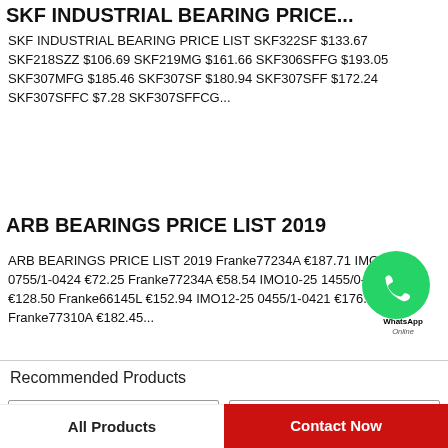SKF INDUSTRIAL BEARING PRICE...
SKF INDUSTRIAL BEARING PRICE LIST SKF322SF $133.67 SKF218SZZ $106.69 SKF219MG $161.66 SKF306SFFG $193.05 SKF307MFG $185.46 SKF307SF $180.94 SKF307SFF $172.24 SKF307SFFC $7.28 SKF307SFFCG...
ARB BEARINGS PRICE LIST 2019
ARB BEARINGS PRICE LIST 2019 Franke77234A €187.71 IMO12-25 0755/1-0424 €72.25 Franke77234A €58.54 IMO10-25 1455/0-0303 €128.50 Franke66145L €152.94 IMO12-25 0455/1-0421 €176.40 Franke77310A €182.45...
[Figure (logo): WhatsApp Online green circle icon with WhatsApp and Online text]
Recommended Products
All Products
Contact Now